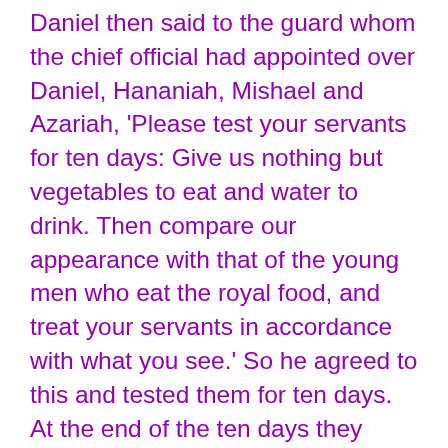Daniel then said to the guard whom the chief official had appointed over Daniel, Hananiah, Mishael and Azariah, 'Please test your servants for ten days: Give us nothing but vegetables to eat and water to drink. Then compare our appearance with that of the young men who eat the royal food, and treat your servants in accordance with what you see.' So he agreed to this and tested them for ten days. At the end of the ten days they looked healthier and better nourished than any of the young men who ate the royal food. So the guard took away their choice food and the wine they were to drink and gave them vegetables instead. To these four young men God gave knowledge and understanding of all kinds of literature and learning. And Daniel could understand visions and dreams of all kinds. At the end of the time set by the king to bring them in, the chief official presented them to Nebuchadnezzar. The king talked with them, and he found none equal to